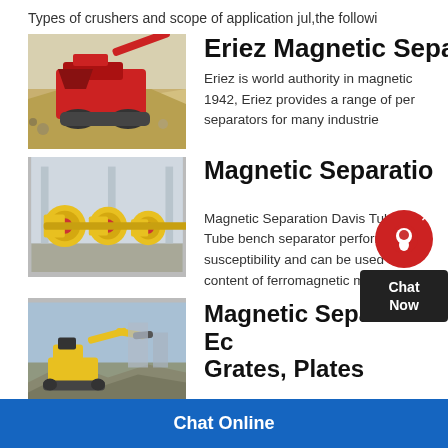Types of crushers and scope of application jul,the followi
[Figure (photo): Red mobile crusher machine on a gravel/aggregate pile]
Eriez Magnetic Separati
Eriez is world authority in magnetic 1942, Eriez provides a range of per separators for many industrie
[Figure (photo): Yellow ball mill machines in an industrial warehouse]
Magnetic Separatio
Magnetic Separation Davis Tube W Tube bench separator performs wet susceptibility and can be used to pr content of ferromagnetic minerals in
[Figure (photo): Excavator at a demolition/mining site]
Magnetic Separation Ec Grates, Plates
Chat Online
[Figure (other): Chat Now widget with red circular icon and black box]